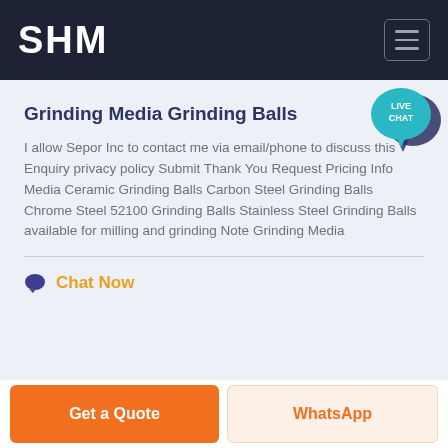SHM
Grinding Media Grinding Balls
I allow Sepor Inc to contact me via email/phone to discuss this Enquiry privacy policy Submit Thank You Request Pricing Info Media Ceramic Grinding Balls Carbon Steel Grinding Balls Chrome Steel 52100 Grinding Balls Stainless Steel Grinding Balls available for milling and grinding Note Grinding Media
Chat Now